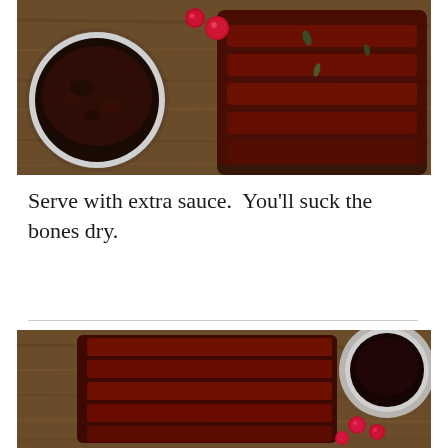[Figure (photo): Top-down view of BBQ glazed ribs on a wooden cutting board with a bowl of dark cherry/cranberry sauce on the left and fresh cranberries scattered around. Ribs are sliced and glistening with sauce, garnished with fresh herbs.]
Serve with extra sauce.  You'll suck the bones dry.
[Figure (photo): Top-down view of BBQ glazed ribs laid flat on a wooden cutting board, with a bowl of dark sauce in upper right corner and fresh cranberries visible. Ribs are coated in glossy dark sauce.]